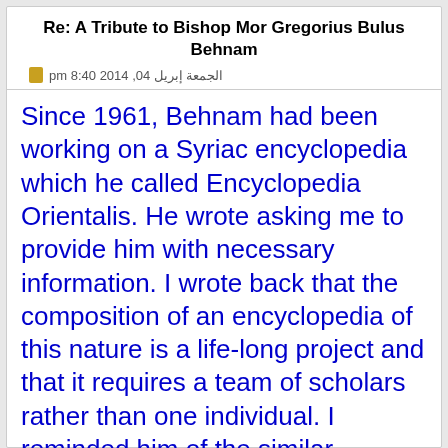Re: A Tribute to Bishop Mor Gregorius Bulus Behnam
الجمعة إبريل 04, 2014 8:40 pm
Since 1961, Behnam had been working on a Syriac encyclopedia which he called Encyclopedia Orientalis. He wrote asking me to provide him with necessary information. I wrote back that the composition of an encyclopedia of this nature is a life-long project and that it requires a team of scholars rather than one individual. I reminded him of the similar endeavor of the eminent Lebanese writer Butrus al-Bustani. He attempted to compose an encyclopedia but could not write more than few volumes and then then gave up the work. Even the volumes he achieved were